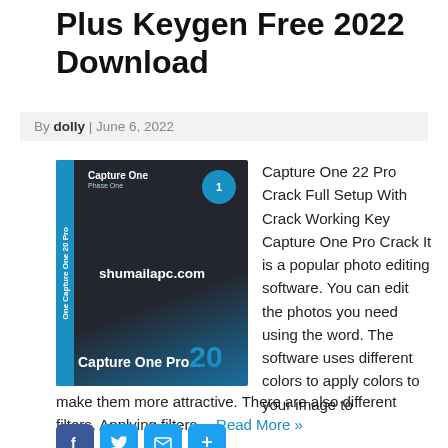Plus Keygen Free 2022 Download
By dolly | June 6, 2022
[Figure (photo): Capture One Pro 20 software box product image with blue and dark grey design and shumailapc.com watermark]
Capture One 22 Pro Crack Full Setup With Crack Working Key Capture One Pro Crack It is a popular photo editing software. You can edit the photos you need using the word. The software uses different colors to apply colors to your image to make them more attractive. There are also different filters. Applying filters… Read More »
[Figure (other): Social share buttons: Facebook, Twitter, Email, Share]